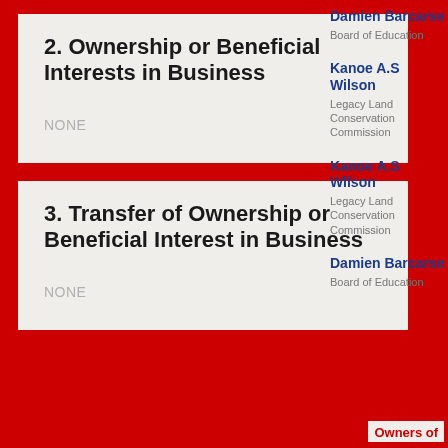2. Ownership or Beneficial Interests in Business
NONE
3. Transfer of Ownership or Beneficial Interest in Business
NONE
Damien Barcarse
Board of Education
Kanoe A.S Wilson
Legacy Land Conservation Commission
Kanoe A.S Wilson
Legacy Land Conservation Commission
Damien Barcarse
Board of Education
Owners of